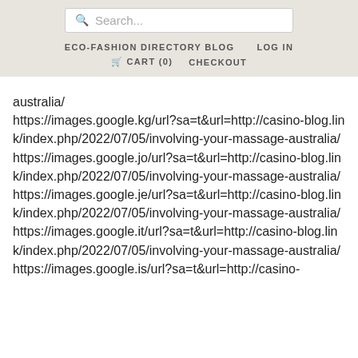Search... | ECO-FASHION DIRECTORY BLOG | LOG IN | CART (0) | CHECKOUT
australia/
https://images.google.kg/url?sa=t&url=http://casino-blog.link/index.php/2022/07/05/involving-your-massage-australia/
https://images.google.jo/url?sa=t&url=http://casino-blog.link/index.php/2022/07/05/involving-your-massage-australia/
https://images.google.je/url?sa=t&url=http://casino-blog.link/index.php/2022/07/05/involving-your-massage-australia/
https://images.google.it/url?sa=t&url=http://casino-blog.link/index.php/2022/07/05/involving-your-massage-australia/
https://images.google.is/url?sa=t&url=http://casino-